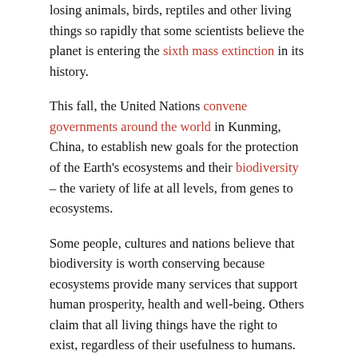losing animals, birds, reptiles and other living things so rapidly that some scientists believe the planet is entering the sixth mass extinction in its history.
This fall, the United Nations convene governments around the world in Kunming, China, to establish new goals for the protection of the Earth's ecosystems and their biodiversity – the variety of life at all levels, from genes to ecosystems.
Some people, cultures and nations believe that biodiversity is worth conserving because ecosystems provide many services that support human prosperity, health and well-being. Others claim that all living things have the right to exist, regardless of their usefulness to humans. Today, there is also a growing understanding that nature enriches our lives by providing opportunities to connect with each other and the places we care about.
Like a conservation biologist, I have been involved for years in the effort to promote biodiversity. Here's how thinking in this area has